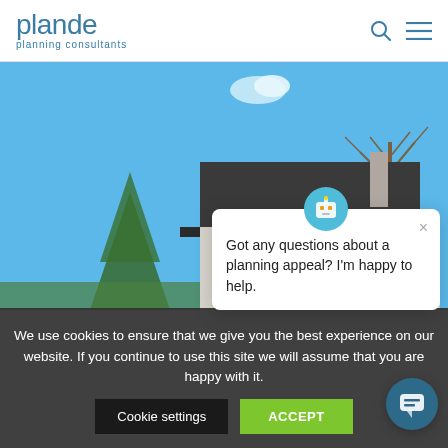plande planning consultants
[Figure (photo): Exterior photo of a residential house with a slate roof, trees, and a blue sky with a small white cloud.]
Got any questions about a planning appeal? I'm happy to help.
We use cookies to ensure that we give you the best experience on our website. If you continue to use this site we will assume that you are happy with it.
Cookie settings
ACCEPT